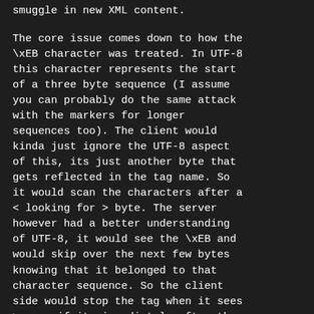smuggle in new XML content.
The core issue comes down to how the \xEB character was treated. In UTF-8 this character represents the start of a three byte sequence (I assume you can probably do the same attack with the markers for longer sequences too). The client would kinda just ignore the UTF-8 aspect of this, its just another byte that gets reflected in the tag name. So it would scan the characters after a < looking for > byte. The server however had a better understanding of UTF-8, it would see the \xEB and would skip over the next few bytes knowing that it belonged to that character sequence. So the client side would stop the tag when it sees > even if its immediately after the \xEB and the server would see it as part of the tag name (enough those